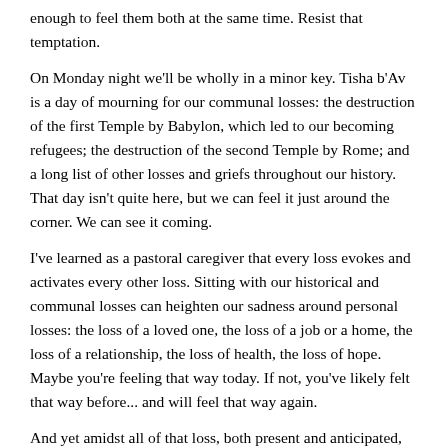enough to feel them both at the same time. Resist that temptation.
On Monday night we'll be wholly in a minor key. Tisha b'Av is a day of mourning for our communal losses: the destruction of the first Temple by Babylon, which led to our becoming refugees; the destruction of the second Temple by Rome; and a long list of other losses and griefs throughout our history. That day isn't quite here, but we can feel it just around the corner. We can see it coming.
I've learned as a pastoral caregiver that every loss evokes and activates every other loss. Sitting with our historical and communal losses can heighten our sadness around personal losses: the loss of a loved one, the loss of a job or a home, the loss of a relationship, the loss of health, the loss of hope. Maybe you're feeling that way today. If not, you've likely felt that way before... and will feel that way again.
And yet amidst all of that loss, both present and anticipated, today we're still called to open our hearts to the abundance and flow of Shabbat. On Shabbes we're still invited to taste perfection. Even if our ability to rejoice is subdued by circumstance or memory, we still offer thanks today for life's many blessings. We still open ourselves to the experience of feeling accompanied and cradled by divine